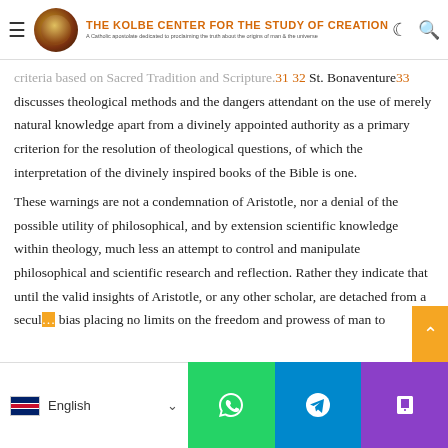THE KOLBE CENTER FOR THE STUDY OF CREATION — A Catholic apostolate dedicated to proclaiming the truth about the origins of man & the universe
criteria based on Sacred Tradition and Scripture.31 32 St. Bonaventure33 discusses theological methods and the dangers attendant on the use of merely natural knowledge apart from a divinely appointed authority as a primary criterion for the resolution of theological questions, of which the interpretation of the divinely inspired books of the Bible is one.
These warnings are not a condemnation of Aristotle, nor a denial of the possible utility of philosophical, and by extension scientific knowledge within theology, much less an attempt to control and manipulate philosophical and scientific research and reflection. Rather they indicate that until the valid insights of Aristotle, or any other scholar, are detached from a secular bias placing no limits on the freedom and prowess of man to